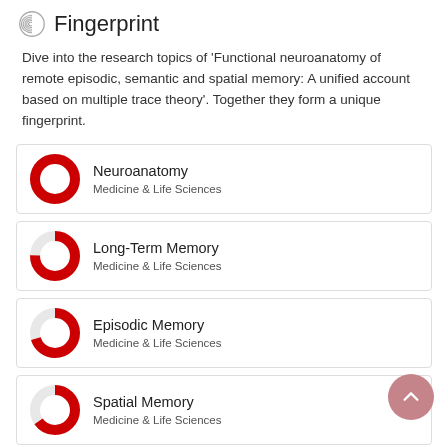Fingerprint
Dive into the research topics of 'Functional neuroanatomy of remote episodic, semantic and spatial memory: A unified account based on multiple trace theory'. Together they form a unique fingerprint.
Neuroanatomy — Medicine & Life Sciences
Long-Term Memory — Medicine & Life Sciences
Episodic Memory — Medicine & Life Sciences
Spatial Memory — Medicine & Life Sciences
Semantics